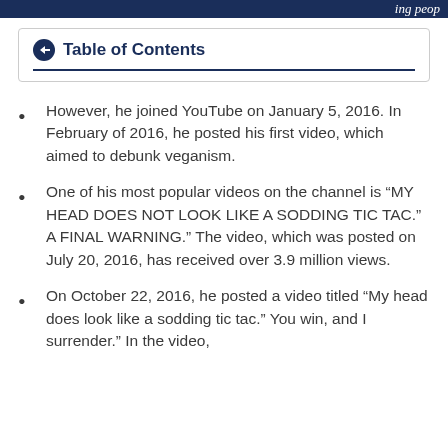ing peop…
Table of Contents
However, he joined YouTube on January 5, 2016. In February of 2016, he posted his first video, which aimed to debunk veganism.
One of his most popular videos on the channel is “MY HEAD DOES NOT LOOK LIKE A SODDING TIC TAC.” A FINAL WARNING.” The video, which was posted on July 20, 2016, has received over 3.9 million views.
On October 22, 2016, he posted a video titled “My head does look like a sodding tic tac.” You win, and I surrender.” In the video,